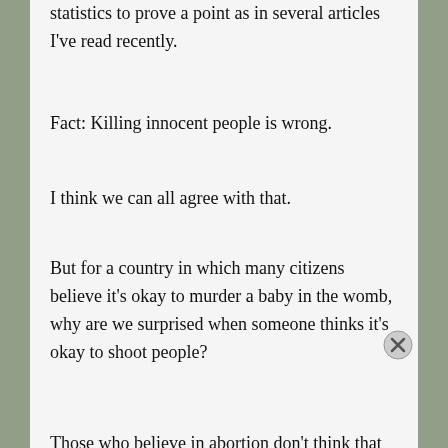statistics to prove a point as in several articles I've read recently.
Fact: Killing innocent people is wrong.
I think we can all agree with that.
But for a country in which many citizens believe it's okay to murder a baby in the womb, why are we surprised when someone thinks it's okay to shoot people?
Those who believe in abortion don't think that that a fetus is actually a human being—or, they think
Advertisements
[Figure (other): WordPress advertisement banner: 'Create immersive stories.' with 'GET THE APP' call to action and WordPress logo]